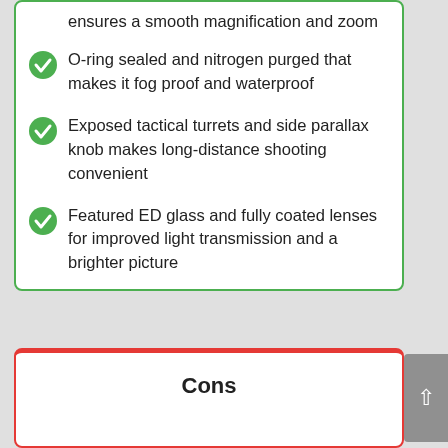ensures a smooth magnification and zoom
O-ring sealed and nitrogen purged that makes it fog proof and waterproof
Exposed tactical turrets and side parallax knob makes long-distance shooting convenient
Featured ED glass and fully coated lenses for improved light transmission and a brighter picture
Cons